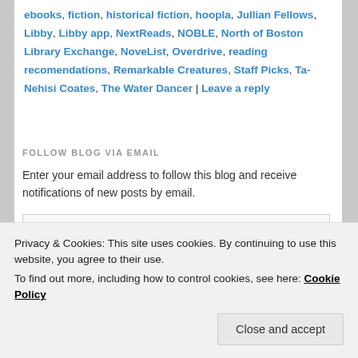ebooks, fiction, historical fiction, hoopla, Jullian Fellows, Libby, Libby app, NextReads, NOBLE, North of Boston Library Exchange, NoveList, Overdrive, reading recomendations, Remarkable Creatures, Staff Picks, Ta-Nehisi Coates, The Water Dancer | Leave a reply
FOLLOW BLOG VIA EMAIL
Enter your email address to follow this blog and receive notifications of new posts by email.
Privacy & Cookies: This site uses cookies. By continuing to use this website, you agree to their use.
To find out more, including how to control cookies, see here: Cookie Policy
Close and accept